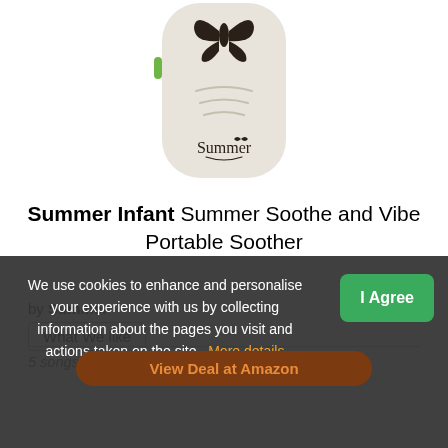[Figure (photo): Summer brand portable baby soother device – a rounded rectangular cream/beige colored device with a black butterfly logo on top, sound wave lines in the middle, and the Summer brand logo at the bottom. Green button visible on the side.]
Summer Infant Summer Soothe and Vibe Portable Soother
by Summer
What We like
5 songs/sounds to soothe your baby to sleep
We use cookies to enhance and personalise your experience with us by collecting information about the pages you visit and actions taken on the site. More details
I Agree
View Deal at Amazon